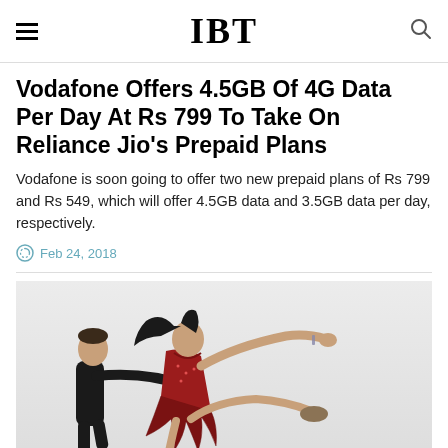IBT
Vodafone Offers 4.5GB Of 4G Data Per Day At Rs 799 To Take On Reliance Jio's Prepaid Plans
Vodafone is soon going to offer two new prepaid plans of Rs 799 and Rs 549, which will offer 4.5GB data and 3.5GB data per day, respectively.
Feb 24, 2018
[Figure (photo): Two ice dancers performing — a woman in a red dress being held by a male partner, both in dynamic pose on ice]